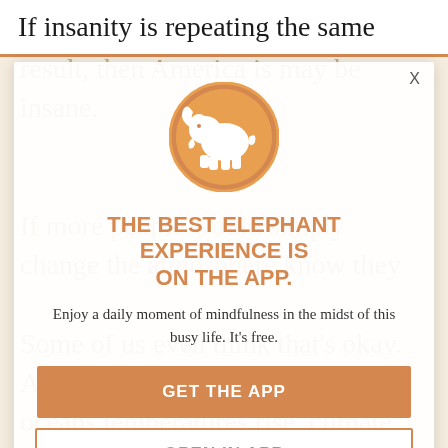If insanity is repeating the same
thing and expecting a different result, then America is may be insane.
[Figure (logo): White elephant silhouette on orange/gold circle — Elephant Journal app logo]
THE BEST ELEPHANT EXPERIENCE IS ON THE APP.
Enjoy a daily moment of mindfulness in the midst of this busy life. It's free.
GET THE APP
OPEN IN APP